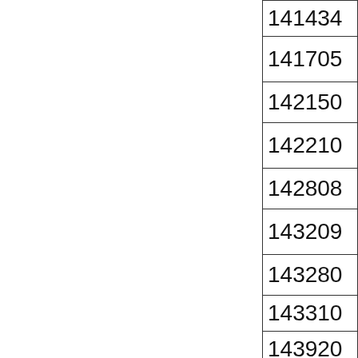| 141434 |
| 141705 |
| 142150 |
| 142210 |
| 142808 |
| 143209 |
| 143280 |
| 143310 |
| 143920 |
| 143935 |
| 143962 |
|  |